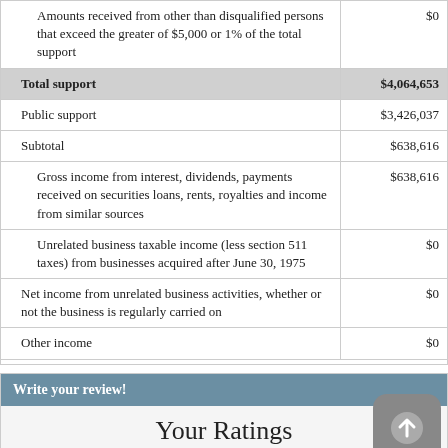| Description | Amount |
| --- | --- |
| Amounts received from other than disqualified persons that exceed the greater of $5,000 or 1% of the total support | $0 |
| Total support | $4,064,653 |
| Public support | $3,426,037 |
| Subtotal | $638,616 |
| Gross income from interest, dividends, payments received on securities loans, rents, royalties and income from similar sources | $638,616 |
| Unrelated business taxable income (less section 511 taxes) from businesses acquired after June 30, 1975 | $0 |
| Net income from unrelated business activities, whether or not the business is regularly carried on | $0 |
| Other income | $0 |
Write your review!
Your Ratings
You can rate this nonprofit in different categories from 1 star (worst) to 5 stars (best) or leave ca unrated